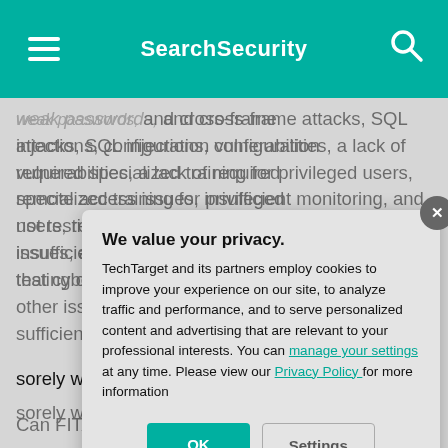SearchSecurity
weak passwords, minimal IT deemed acceptable to ATO and cross-frame attacks, SQL injections, configuration vulnerabilities, a lack of required specialized training for privileged users, remote access issues, insufficient monitoring, and not testing contingency plans. There are other issues, as well. However, it is sufficient to state that cybersecurity [text continues behind modal] sorely wanting.
FITARA is not a [text continues behind modal] cybersecurity too[text continues behind modal] allocation of the[text continues behind modal] discretion. But, i[text continues behind modal] and breaches co[text continues behind modal] CIO for each affe[text continues behind modal] answer to, includ[text continues behind modal]
Can FITARA hav[text cut off]
[Figure (screenshot): Privacy consent modal dialog with title 'We value your privacy.' and body text about TechTarget cookies, with OK and Settings buttons and an X close button]
We value your privacy.
TechTarget and its partners employ cookies to improve your experience on our site, to analyze traffic and performance, and to serve personalized content and advertising that are relevant to your professional interests. You can manage your settings at any time. Please view our Privacy Policy for more information
OK
Settings